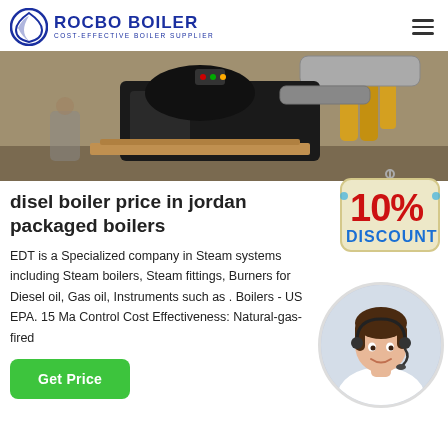ROCBO BOILER — COST-EFFECTIVE BOILER SUPPLIER
[Figure (photo): Industrial boiler system with black machinery, yellow pipes, and metal ducts in a factory setting]
disel boiler price in jordan packaged boilers
[Figure (other): 10% DISCOUNT badge/sticker in red and blue text on cream background]
EDT is a Specialized company in Steam systems including Steam boilers, Steam fittings, Burners for Diesel oil, Gas oil, Instruments such as . Boilers - US EPA. 15 Ma Control Cost Effectiveness: Natural-gas-fired
[Figure (photo): Customer support agent woman smiling with headset microphone, circular portrait]
Get Price